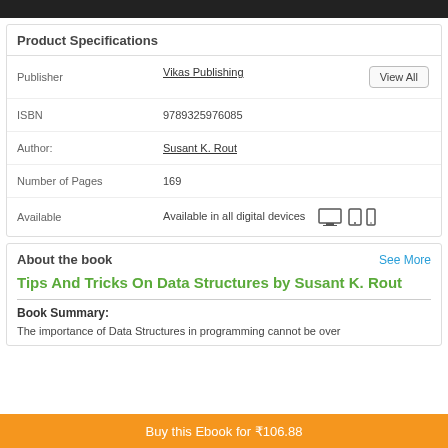Product Specifications
| Field | Value |
| --- | --- |
| Publisher | Vikas Publishing |
| ISBN | 9789325976085 |
| Author: | Susant K. Rout |
| Number of Pages | 169 |
| Available | Available in all digital devices |
About the book
Tips And Tricks On Data Structures by Susant K. Rout
Book Summary:
The importance of Data Structures in programming cannot be over
Buy this Ebook for ₹106.88